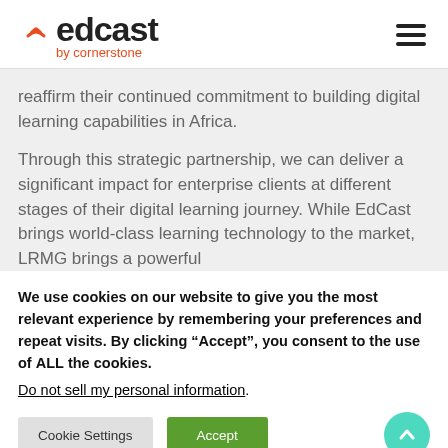[Figure (logo): EdCast by Cornerstone logo with WiFi signal icon and hamburger menu]
reaffirm their continued commitment to building digital learning capabilities in Africa.
Through this strategic partnership, we can deliver a significant impact for enterprise clients at different stages of their digital learning journey. While EdCast brings world-class learning technology to the market, LRMG brings a powerful
We use cookies on our website to give you the most relevant experience by remembering your preferences and repeat visits. By clicking “Accept”, you consent to the use of ALL the cookies.
Do not sell my personal information.